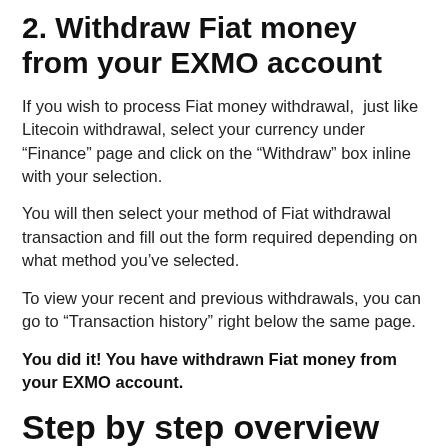2. Withdraw Fiat money from your EXMO account
If you wish to process Fiat money withdrawal,  just like Litecoin withdrawal, select your currency under “Finance” page and click on the “Withdraw” box inline with your selection.
You will then select your method of Fiat withdrawal transaction and fill out the form required depending on what method you’ve selected.
To view your recent and previous withdrawals, you can go to “Transaction history” right below the same page.
You did it! You have withdrawn Fiat money from your EXMO account.
Step by step overview on how to deposit Litecoin on DSX